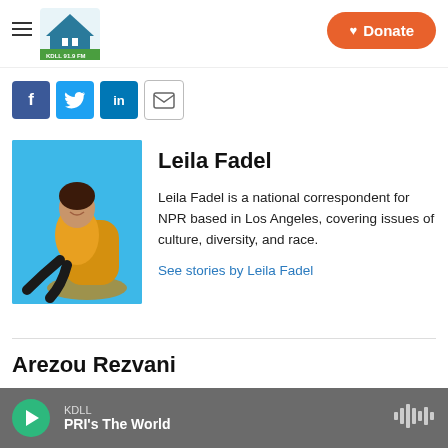KDLL logo / Donate button
[Figure (logo): KDLL 91.9 FM radio station logo — building silhouette on blue/green background]
[Figure (photo): Social sharing icons: Facebook (blue), Twitter (light blue), LinkedIn (dark blue), Email (envelope outline)]
[Figure (photo): Leila Fadel seated in a yellow armchair, wearing a yellow top and black pants, against a bright blue background]
Leila Fadel
Leila Fadel is a national correspondent for NPR based in Los Angeles, covering issues of culture, diversity, and race.
See stories by Leila Fadel
Arezou Rezvani
KDLL  PRI's The World